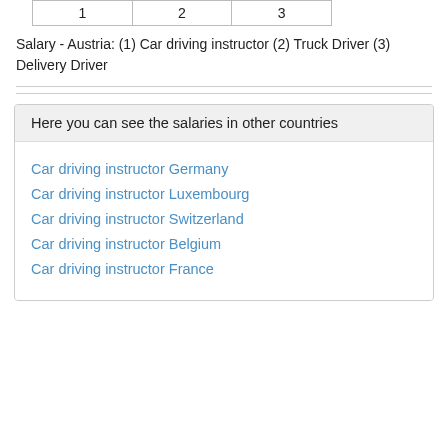| 1 | 2 | 3 |
| --- | --- | --- |
Salary - Austria: (1) Car driving instructor (2) Truck Driver (3) Delivery Driver
Here you can see the salaries in other countries
Car driving instructor Germany
Car driving instructor Luxembourg
Car driving instructor Switzerland
Car driving instructor Belgium
Car driving instructor France